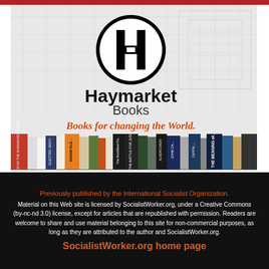[Figure (logo): Haymarket Books advertisement showing the Haymarket Books logo (stylized H in a circle), text 'Haymarket Books' and italic orange text 'Books for changing the World.' above a row of book spines on a light architectural blueprint background.]
Previously published by the International Socialist Organization.
Material on this Web site is licensed by SocialistWorker.org, under a Creative Commons (by-nc-nd 3.0) license, except for articles that are republished with permission. Readers are welcome to share and use material belonging to this site for non-commercial purposes, as long as they are attributed to the author and SocialistWorker.org.
SocialistWorker.org home page